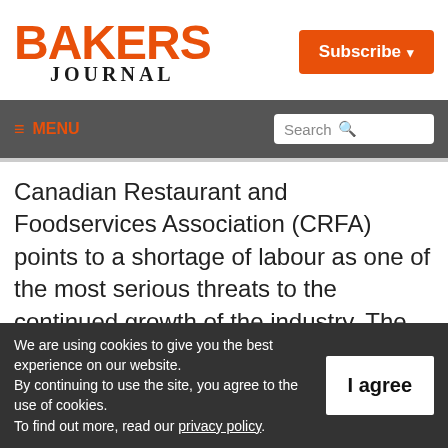BAKERS JOURNAL
Subscribe
≡ MENU
Search
Canadian Restaurant and Foodservices Association (CRFA) points to a shortage of labour as one of the most serious threats to the continued growth of the industry. The issue is particularly challenging in Canada's western provinces – especially true in Alberta
We are using cookies to give you the best experience on our website.
By continuing to use the site, you agree to the use of cookies.
To find out more, read our privacy policy.
I agree